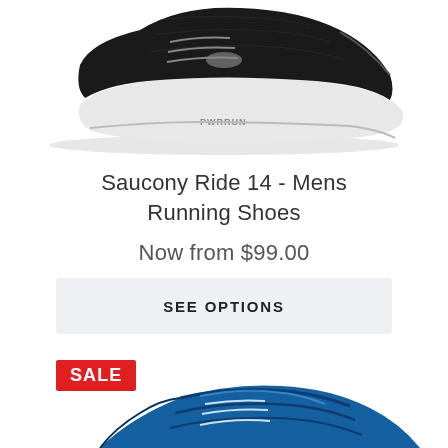[Figure (photo): Partial view of a Saucony running shoe (black with white sole), cropped showing the bottom/side portion of the shoe from above]
Saucony Ride 14 - Mens Running Shoes
Now from $99.00
SEE OPTIONS
SALE
[Figure (photo): Partial view of a blue Saucony running shoe, cropped showing the upper/toe portion of the shoe from the side]